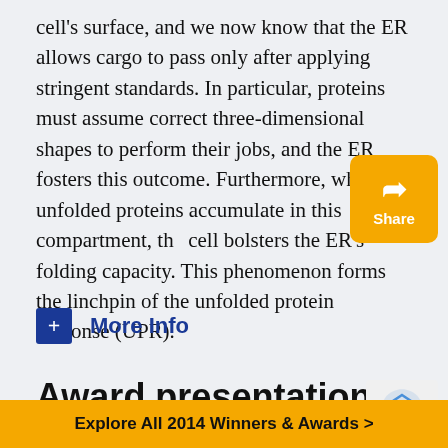cell's surface, and we now know that the ER allows cargo to pass only after applying stringent standards. In particular, proteins must assume correct three-dimensional shapes to perform their jobs, and the ER fosters this outcome. Furthermore, when unfolded proteins accumulate in this compartment, the cell bolsters the ER's folding capacity. This phenomenon forms the linchpin of the unfolded protein response (UPR).
[Figure (other): Share button — amber/yellow rounded square with a share arrow icon and 'Share' label in white text]
+ More Info
Award presentation by
[Figure (logo): reCAPTCHA logo — partial view of the reCAPTCHA icon on a light gray background]
Explore All 2014 Winners & Awards >